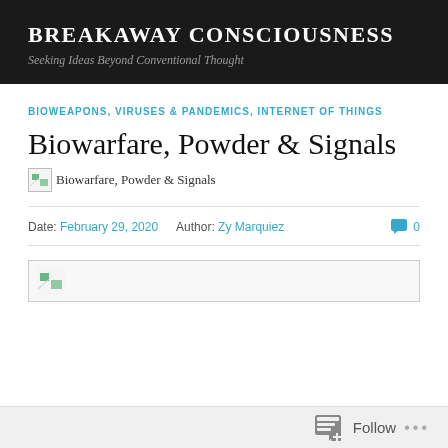BREAKAWAY CONSCIOUSNESS
Seeking Ideas Beyond Conventional Thought
BIOWEAPONS, VIRUSES & PANDEMICS, INTERNET OF THINGS
Biowarfare, Powder & Signals
[Figure (other): Broken image placeholder with alt text: Biowarfare, Powder & Signals]
Date: February 29, 2020   Author: Zy Marquiez   0 comments
[Figure (other): Broken/loading image placeholder for article featured image]
Follow